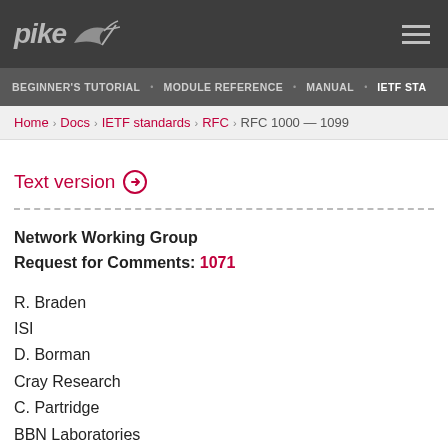pike [logo] | hamburger menu
BEGINNER'S TUTORIAL · MODULE REFERENCE · MANUAL · IETF STA
Home › Docs › IETF standards › RFC › RFC 1000 — 1099
Text version ⊙
Network Working Group
Request for Comments: 1071

R. Braden
ISI
D. Borman
Cray Research
C. Partridge
BBN Laboratories
September 1988